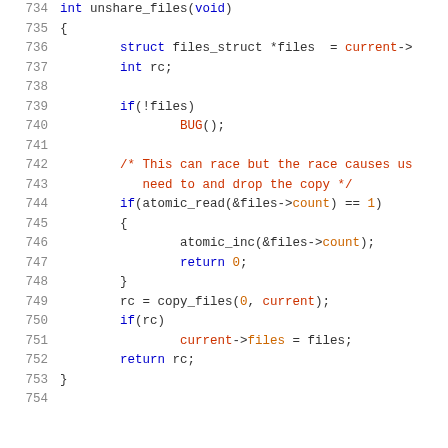[Figure (screenshot): Source code listing of the unshare_files() function in C, lines 734-754, with syntax highlighting. Keywords in blue, comments and macros in dark red/orange, numbers and fields in orange.]